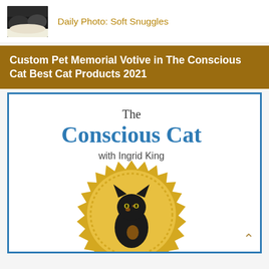Daily Photo: Soft Snuggles
Custom Pet Memorial Votive in The Conscious Cat Best Cat Products 2021
[Figure (photo): The Conscious Cat with Ingrid King award badge featuring a tortoiseshell cat sitting inside a gold seal/medallion badge on a white background with blue border]